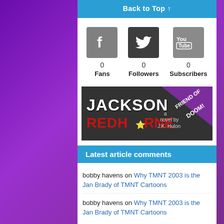Back to Top ↑
0
Fans
0
Followers
0
Subscribers
[Figure (illustration): Book advertisement banner for 'Jackson Redhorne a novel by J.K. Hulon' with 'Friend of Doom!' badge on purple triangle]
Latest article comments
bobby havens on Why TMNT 2003 is the Jan Brady of TMNT Cartoons
bobby havens on Why TMNT 2003 is the Jan Brady of TMNT Cartoons